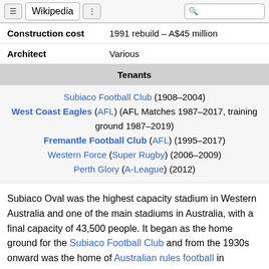Wikipedia
| Construction cost | 1991 rebuild – A$45 million |
| Architect | Various |
| Tenants |
| --- |
| Subiaco Football Club (1908–2004) |
| West Coast Eagles (AFL) (AFL Matches 1987–2017, training ground 1987–2019) |
| Fremantle Football Club (AFL) (1995–2017) |
| Western Force (Super Rugby) (2006–2009) |
| Perth Glory (A-League) (2012) |
Subiaco Oval was the highest capacity stadium in Western Australia and one of the main stadiums in Australia, with a final capacity of 43,500 people. It began as the home ground for the Subiaco Football Club and from the 1930s onward was the home of Australian rules football in Western Australia. It hosted the annual grand final of the